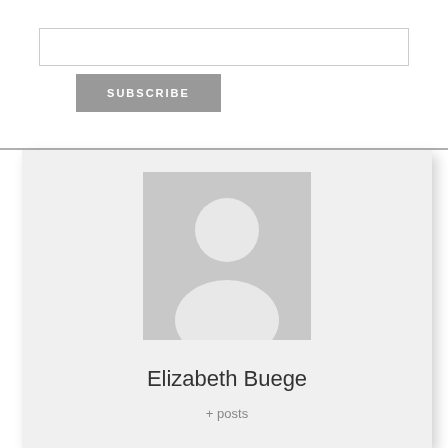[Figure (other): Empty text input box for email subscription]
SUBSCRIBE
[Figure (other): Profile card with placeholder avatar image (gray background with white silhouette person icon), name 'Elizabeth Buege', and '+ posts' link]
Elizabeth Buege
+ posts